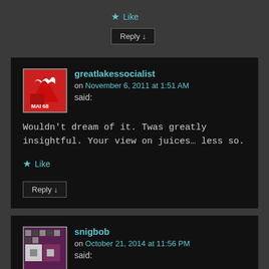★ Like
Reply ↓
greatlakessocialist on November 6, 2011 at 1:51 AM said:
Wouldn't dream of it. Twas greatly insightful. Your view on juices… less so.
★ Like
Reply ↓
snigbob on October 21, 2014 at 11:56 PM said: